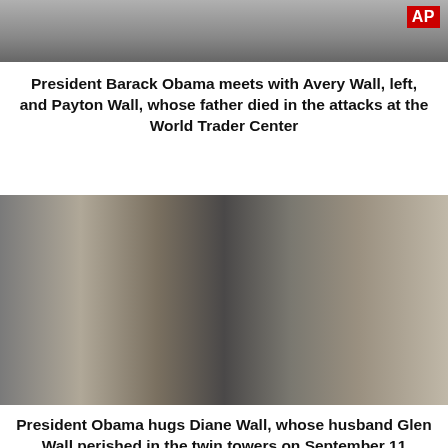[Figure (photo): Top portion of a photo showing people standing, partially cropped, with an AP logo in the upper right corner.]
President Barack Obama meets with Avery Wall, left, and Payton Wall, whose father died in the attacks at the World Trader Center
[Figure (photo): President Obama hugging a woman (Diane Wall) outdoors, with police officers and two young women standing nearby. Trees visible in background.]
President Obama hugs Diane Wall, whose husband Glen Wall perished in the twin towers on September 11